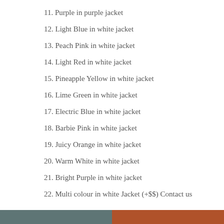11. Purple in purple jacket
12. Light Blue in white jacket
13. Peach Pink in white jacket
14. Light Red in white jacket
15. Pineapple Yellow in white jacket
16. Lime Green in white jacket
17. Electric Blue in white jacket
18. Barbie Pink in white jacket
19. Juicy Orange in white jacket
20. Warm White in white jacket
21. Bright Purple in white jacket
22. Multi colour in white Jacket (+$$) Contact us
[Figure (other): Two-color horizontal bar at bottom: left half slate/teal gray, right half burnt orange/terracotta]